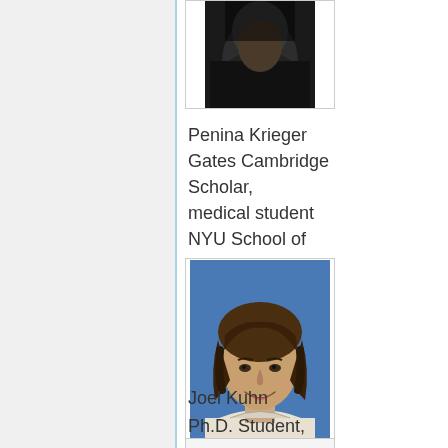[Figure (photo): Partial headshot of Penina Krieger at top of page, dark background, only lower portion visible]
Penina Krieger Gates Cambridge Scholar, medical student NYU School of Medicine
[Figure (photo): Headshot of Joel Kuhn, young man with medium-length brown hair, smiling, wearing light-colored polo shirt, blue background]
Joel Kuhn Ph.D. Student, UC San Diego
[Figure (photo): Partial photo at bottom of page, cropped]